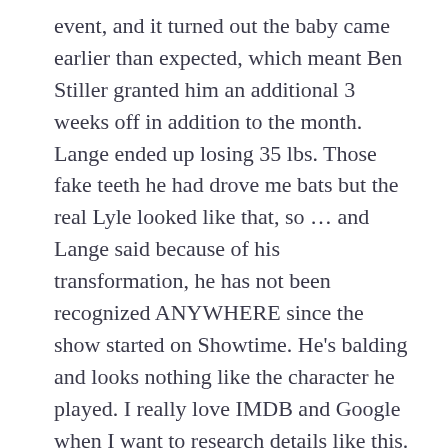event, and it turned out the baby came earlier than expected, which meant Ben Stiller granted him an additional 3 weeks off in addition to the month. Lange ended up losing 35 lbs. Those fake teeth he had drove me bats but the real Lyle looked like that, so ... and Lange said because of his transformation, he has not been recognized ANYWHERE since the show started on Showtime. He’s balding and looks nothing like the character he played. I really love IMDB and Google when I want to research details like this.
Patty Arquette better win several awards for her acting. She was amazing. All of